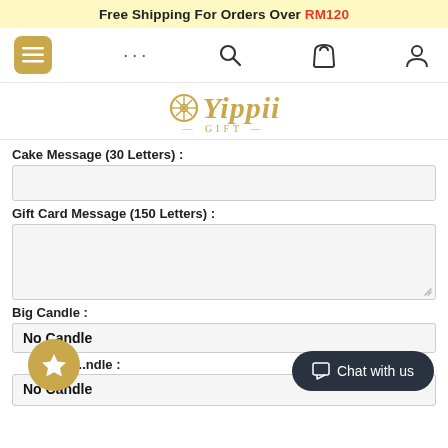Free Shipping For Orders Over RM120
[Figure (screenshot): Navigation bar with menu button (hamburger icon in gold rounded square), ellipsis dots, search icon, bag icon, user icon]
[Figure (logo): Yippii Gift logo in gold with circular snowflake emblem, italic text 'Yippii' and below '— GIFT —']
Cake Message (30 Letters) :
[Figure (screenshot): Text input field for cake message]
Gift Card Message (150 Letters) :
[Figure (screenshot): Textarea input field for gift card message]
Big Candle :
[Figure (screenshot): Dropdown showing 'No Candle' selection]
...ndle :
[Figure (screenshot): Dropdown showing 'No Candle' selection for second candle field]
[Figure (screenshot): Gold star badge button and dark 'Chat with us' button overlay]